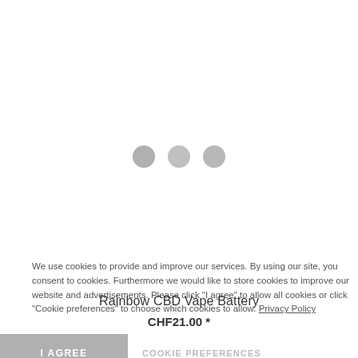[Figure (other): Loading spinner with three gray dots indicating content is loading]
We use cookies to provide and improve our services. By using our site, you consent to cookies. Furthermore we would like to store cookies to improve our website and advertisements. Please click "I agree" to allow all cookies or click "Cookie preferences" to choose which cookies to allow. Privacy Policy
Rainbow CBD Vape Battery
CHF21.00 *
I AGREE
COOKIE PREFERENCES